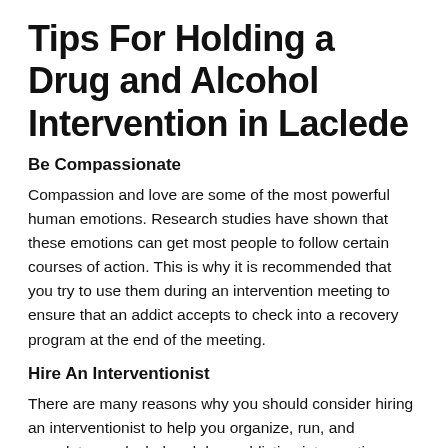Tips For Holding a Drug and Alcohol Intervention in Laclede
Be Compassionate
Compassion and love are some of the most powerful human emotions. Research studies have shown that these emotions can get most people to follow certain courses of action. This is why it is recommended that you try to use them during an intervention meeting to ensure that an addict accepts to check into a recovery program at the end of the meeting.
Hire An Interventionist
There are many reasons why you should consider hiring an interventionist to help you organize, run, and complete an alcohol and drug addiction intervention meeting. As a family member, it is not easy to handle all aspects of the